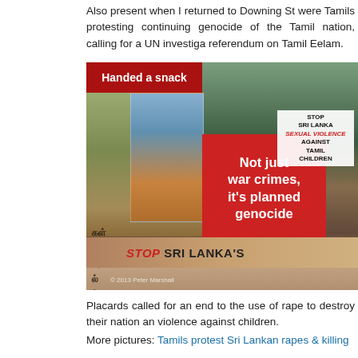Also present when I returned to Downing St were Tamils protesting continuing genocide of the Tamil nation, calling for a UN investigation and referendum on Tamil Eelam.
[Figure (photo): Photograph of Tamil protesters outside Downing Street holding signs. A large red sign reads 'Not just war crimes, it's planned genocide'. Other signs read 'Stop Sri Lanka's Sexual Violence Against Children' and 'Handed a snack'. A banner at the bottom reads 'STOP SRI LANKA'S'. Tamil script is visible on a sign to the left. Photo watermark reads '© 2013 Peter Marshall'.]
Placards called for an end to the use of rape to destroy their nation and violence against children.
More pictures: Tamils protest Sri Lankan rapes & killing